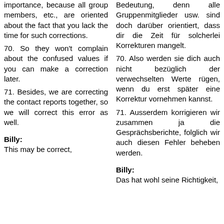importance, because all group members, etc., are oriented about the fact that you lack the time for such corrections.
Bedeutung, denn alle Gruppenmitglieder usw. sind doch darüber orientiert, dass dir die Zeit für solcherlei Korrekturen mangelt.
70. So they won't complain about the confused values if you can make a correction later.
70. Also werden sie dich auch nicht bezüglich der verwechselten Werte rügen, wenn du erst später eine Korrektur vornehmen kannst.
71. Besides, we are correcting the contact reports together, so we will correct this error as well.
71. Ausserdem korrigieren wir zusammen ja die Gesprächsberichte, folglich wir auch diesen Fehler beheben werden.
Billy:
Billy:
This may be correct,
Das hat wohl seine Richtigkeit,